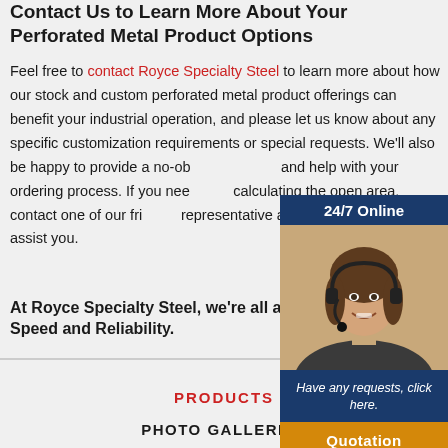Contact Us to Learn More About Your Perforated Metal Product Options
Feel free to contact Royce Specialty Steel to learn more about how our stock and custom perforated metal product offerings can benefit your industrial operation, and please let us know about any specific customization requirements or special requests. We'll also be happy to provide a no-ob… and help with your ordering process. If you nee… calculating the open area, contact one of our fri… representative and we'd be happy to assist you.
[Figure (photo): Customer service representative wearing a headset, smiling. Header bar reads '24/7 Online'. Footer includes italic text 'Have any requests, click here.' and an orange button labeled 'Quotation'.]
At Royce Specialty Steel, we're all about Quality, Speed and Reliability.
PRODUCTS
PHOTO GALLERIES